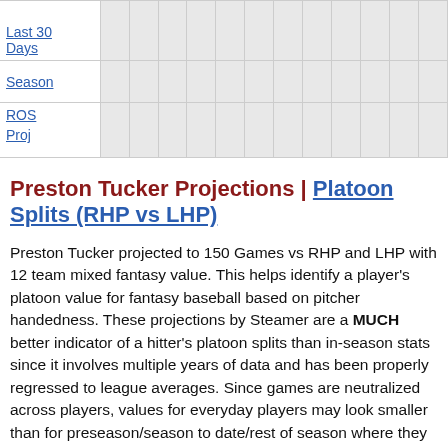|  |  |  |  |  |  |  |  |  |  |  |  |  |
| --- | --- | --- | --- | --- | --- | --- | --- | --- | --- | --- | --- | --- |
| Last 30 Days |  |  |  |  |  |  |  |  |  |  |  |  |
| Season |  |  |  |  |  |  |  |  |  |  |  |  |
| ROS Proj |  |  |  |  |  |  |  |  |  |  |  |  |
Preston Tucker Projections | Platoon Splits (RHP vs LHP)
Preston Tucker projected to 150 Games vs RHP and LHP with 12 team mixed fantasy value. This helps identify a player's platoon value for fantasy baseball based on pitcher handedness. These projections by Steamer are a MUCH better indicator of a hitter's platoon splits than in-season stats since it involves multiple years of data and has been properly regressed to league averages. Since games are neutralized across players, values for everyday players may look smaller than for preseason/season to date/rest of season where they benefit from playing time advantages vs other players. In general, left-handed hitters have larger platoon splits.